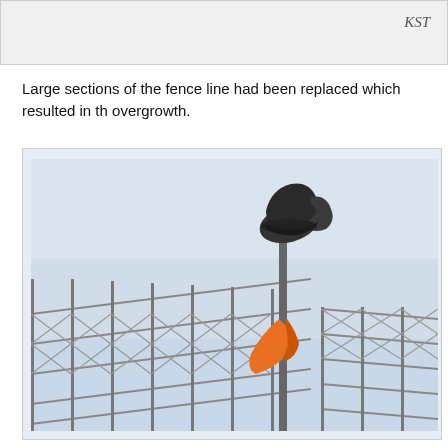[Figure (photo): Top portion of a previous page element showing a gray background box with italic text 'KST' in the upper right corner]
Large sections of the fence line had been replaced which resulted in th overgrowth.
[Figure (photo): Photo showing a chain-link fence with a dark boot placed on top of a metal pole. An orange strap or tie is attached partway down the pole. The background is a light blue-gray sky.]